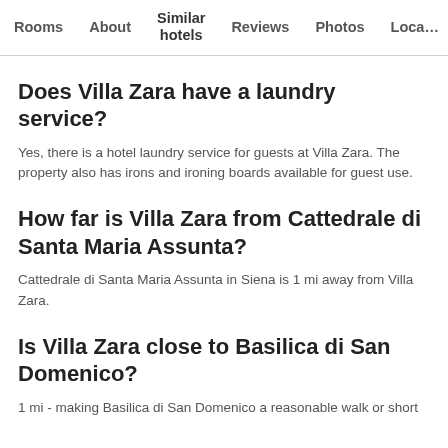Rooms   About   Similar hotels   Reviews   Photos   Loca…
Does Villa Zara have a laundry service?
Yes, there is a hotel laundry service for guests at Villa Zara. The property also has irons and ironing boards available for guest use.
How far is Villa Zara from Cattedrale di Santa Maria Assunta?
Cattedrale di Santa Maria Assunta in Siena is 1 mi away from Villa Zara.
Is Villa Zara close to Basilica di San Domenico?
1 mi - making Basilica di San Domenico a reasonable walk or short